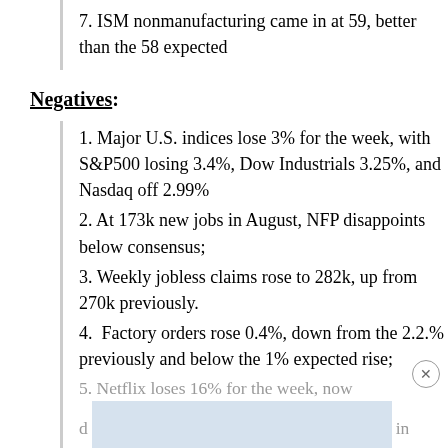7. ISM nonmanufacturing came in at 59, better than the 58 expected
Negatives:
1. Major U.S. indices lose 3% for the week, with S&P500 losing 3.4%, Dow Industrials 3.25%, and Nasdaq off 2.99%
2. At 173k new jobs in August, NFP disappoints below consensus;
3. Weekly jobless claims rose to 282k, up from 270k previously.
4.  Factory orders rose 0.4%, down from the 2.2.% previously and below the 1% expected rise;
5. Netflix loses 16% for the week, now [obscured] in a [obscured]
6. Emerging markets suffer similar